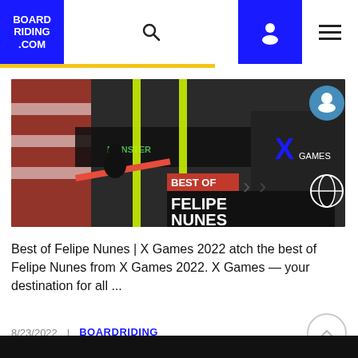BOARDRIDING.COM
[Figure (screenshot): X Games 2022 event thumbnail showing a skateboarder on a rail with neon green poles and 'BEST OF FELIPE NUNES' overlay text in red and black]
Best of Felipe Nunes | X Games 2022 atch the best of Felipe Nunes from X Games 2022. X Games — your destination for all ...
8/23/2022  |  BOARDRIDING